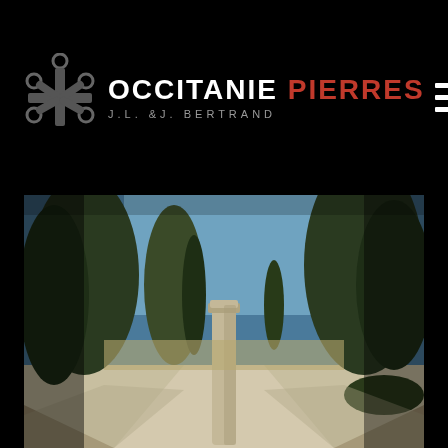[Figure (logo): Occitanie Pierres logo with Occitan cross symbol above the text. Logo text reads OCCITANIE PIERRES in white bold uppercase, with J.L. &J. BERTRAND in grey spaced uppercase below. Hamburger menu icon top right.]
[Figure (photo): Outdoor photo of a stone-paved pathway flanked by tall pine and cypress trees under a blue sky. A stone column stands in the center foreground. The scene suggests a Mediterranean garden or estate.]